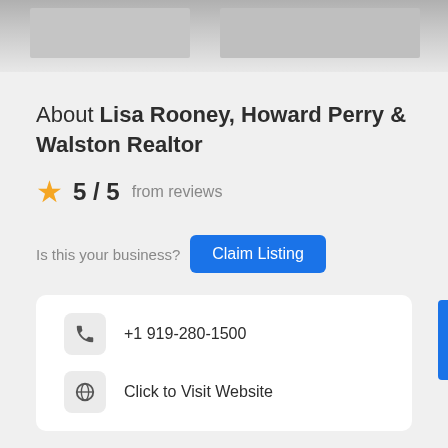[Figure (photo): Banner photo of ceiling/interior space, gray tones]
About Lisa Rooney, Howard Perry & Walston Realtor
5 / 5 from reviews
Is this your business? Claim Listing
+1 919-280-1500
Click to Visit Website